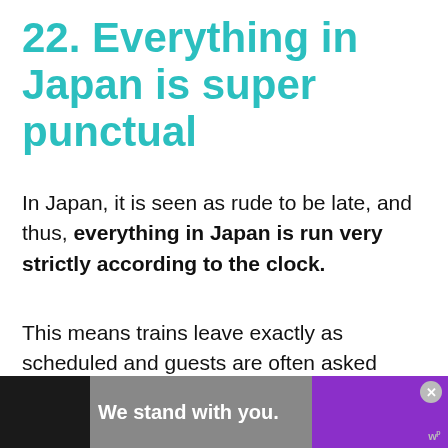22. Everything in Japan is super punctual
In Japan, it is seen as rude to be late, and thus, everything in Japan is run very strictly according to the clock.
This means trains leave exactly as scheduled and guests are often asked to show up to guided tours 15 minutes in advance. If you have a tendency to be late (I'm right there with ya!), be sure to pay ex... ring yo...
[Figure (screenshot): Advertisement banner: dark square on left, grey background with 'We stand with you.' text in bold white, purple block on right with close X button, Whisper logo bottom right corner.]